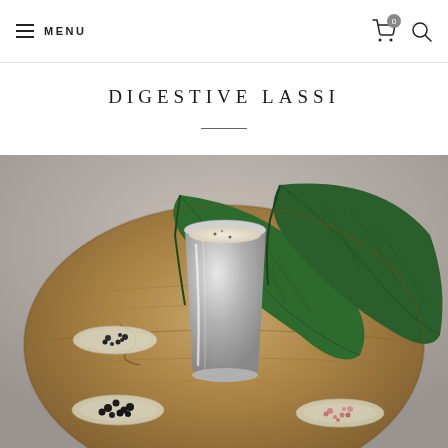MENU
DIGESTIVE LASSI
[Figure (photo): A wooden tray holding a stainless steel cup filled with lassi (a yogurt-based drink), two large green leaves, and three small glass bowls containing spices: black pepper, black whole spices, and pink salt/spices, arranged on a natural wooden surface with a gray stone background.]